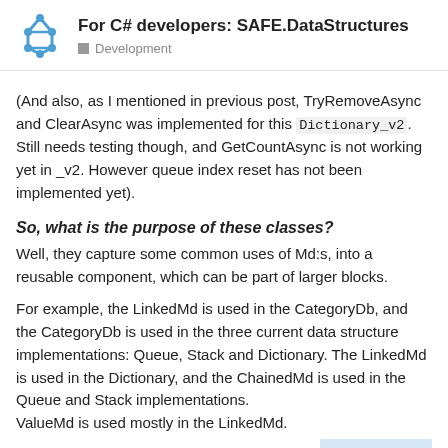For C# developers: SAFE.DataStructures — Development
(And also, as I mentioned in previous post, TryRemoveAsync and ClearAsync was implemented for this Dictionary_v2. Still needs testing though, and GetCountAsync is not working yet in _v2. However queue index reset has not been implemented yet).
So, what is the purpose of these classes?
Well, they capture some common uses of Md:s, into a reusable component, which can be part of larger blocks.
For example, the LinkedMd is used in the CategoryDb, and the CategoryDb is used in the three current data structure implementations: Queue, Stack and Dictionary. The LinkedMd is used in the Dictionary, and the ChainedMd is used in the Queue and Stack implementations.
ValueMd is used mostly in the LinkedMd.
LinkedMd
This models the usecase when each entry
3 / 8